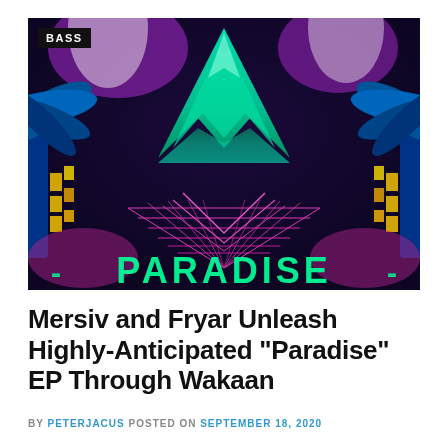[Figure (illustration): Colorful psychedelic album artwork for 'Paradise' EP featuring mirrored tropical palm trees in blue/teal, glowing green mountain/wave shapes, pink wireframe geometric patterns, and neon text reading 'PARADISE' at the bottom. A black badge in the top-left reads 'BASS'.]
Mersiv and Fryar Unleash Highly-Anticipated “Paradise” EP Through Wakaan
BY PETERJACUS POSTED ON SEPTEMBER 18, 2020